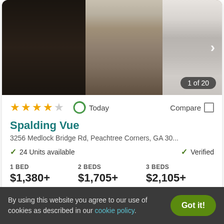[Figure (photo): Interior photo of apartment showing kitchen and hardwood floors, hallway view. Shows '1 of 20' counter badge.]
★★★★☆  Today  Compare □
Spalding Vue
3256 Medlock Bridge Rd, Peachtree Corners, GA 30...
✓ 24 Units available    ✓ Verified
1 BED $1,380+   2 BEDS $1,705+   3 BEDS $2,105+
View Details   Contact Property
By using this website you agree to our use of cookies as described in our cookie policy.   Got it!